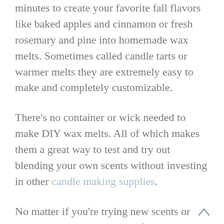minutes to create your favorite fall flavors like baked apples and cinnamon or fresh rosemary and pine into homemade wax melts. Sometimes called candle tarts or warmer melts they are extremely easy to make and completely customizable.
There's no container or wick needed to make DIY wax melts. All of which makes them a great way to test and try out blending your own scents without investing in other candle making supplies.
No matter if you're trying new scents or new to candle making these fall wax melts make great handmade gifts for teachers, neighbors,  your family hairstylist, or anyone else you want to give a thank you to or